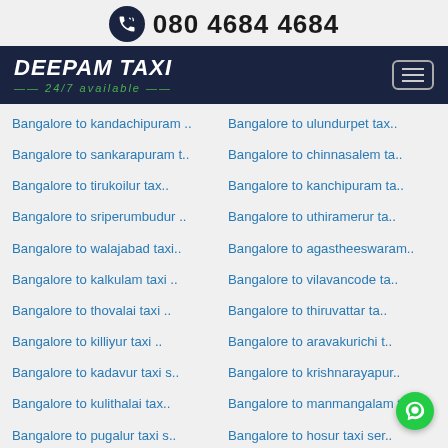080 4684 4684
[Figure (logo): Deepam Taxi logo with 24/7 available text on dark navy background with hamburger menu icon]
Bangalore to kandachipuram ..
Bangalore to ulundurpet tax..
Bangalore to sankarapuram t..
Bangalore to chinnasalem ta..
Bangalore to tirukoilur tax..
Bangalore to kanchipuram ta..
Bangalore to sriperumbudur ..
Bangalore to uthiramerur ta..
Bangalore to walajabad taxi..
Bangalore to agastheeswaram..
Bangalore to kalkulam taxi ..
Bangalore to vilavancode ta..
Bangalore to thovalai taxi ..
Bangalore to thiruvattar ta..
Bangalore to killiyur taxi ..
Bangalore to aravakurichi t..
Bangalore to kadavur taxi s..
Bangalore to krishnarayapur..
Bangalore to kulithalai tax..
Bangalore to manmangalam ta..
Bangalore to pugalur taxi s..
Bangalore to hosur taxi ser..
Bangalore to pochampalli ta..
Bangalore to uthangarai tax..